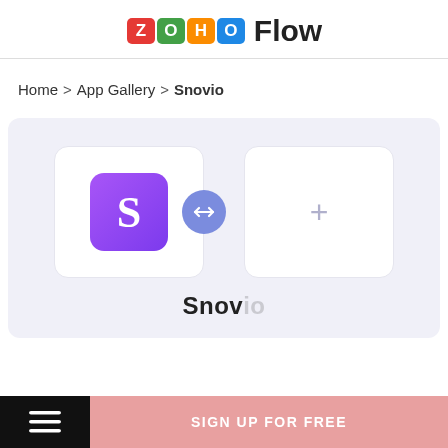[Figure (logo): Zoho Flow logo with colorful letter blocks spelling ZOHO and the word Flow in bold]
Home > App Gallery > Snovio
[Figure (illustration): Snovio app card with purple S logo connected via arrows circle to a blank card with a plus sign, on a light purple background]
SIGN UP FOR FREE